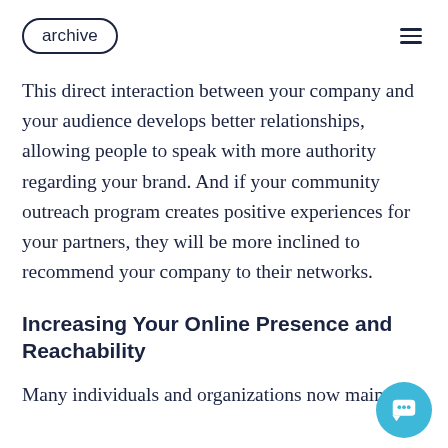archive
This direct interaction between your company and your audience develops better relationships, allowing people to speak with more authority regarding your brand. And if your community outreach program creates positive experiences for your partners, they will be more inclined to recommend your company to their networks.
Increasing Your Online Presence and Reachability
Many individuals and organizations now maintain